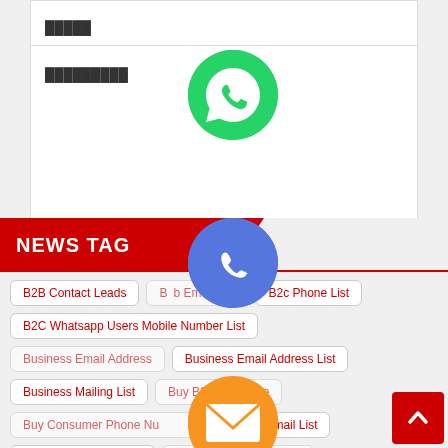█████
█████████
NEWS TAG
B2B Contact Leads
B2b Email List
B2c Phone List
B2C Whatsapp Users Mobile Number List
Business Email Address
Business Email Address List
Business Mailing List
Buy B2B Database
Buy Consumer Phone Number List
Buy Email List
C-Level Executive List
Cell Phone Number List
Cold Calling List
Consumer Phone List
[Figure (logo): WhatsApp green circle icon]
[Figure (logo): Phone blue circle icon]
[Figure (logo): Email/envelope orange circle icon]
[Figure (logo): LINE green circle icon]
[Figure (logo): Viber purple circle icon]
[Figure (logo): Close/X green circle icon]